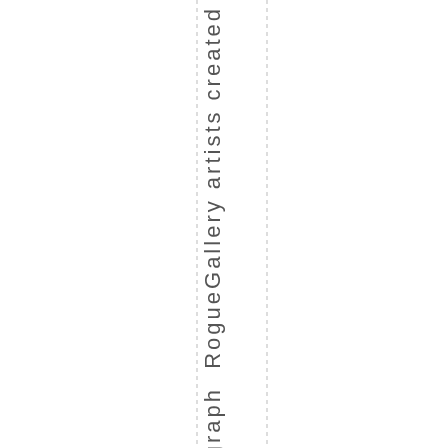ograph Rogue Gallery artists created